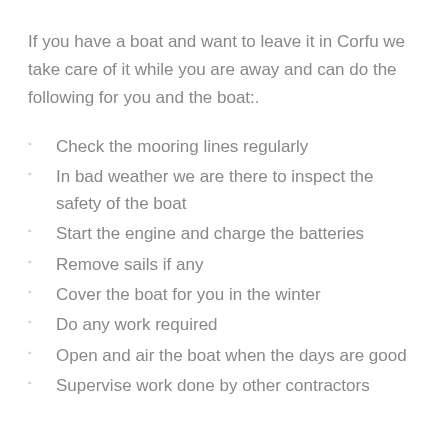If you have a boat and want to leave it in Corfu we take care of it while you are away and can do the following for you and the boat:.
Check the mooring lines regularly
In bad weather we are there to inspect the safety of the boat
Start the engine and charge the batteries
Remove sails if any
Cover the boat for you in the winter
Do any work required
Open and air the boat when the days are good
Supervise work done by other contractors